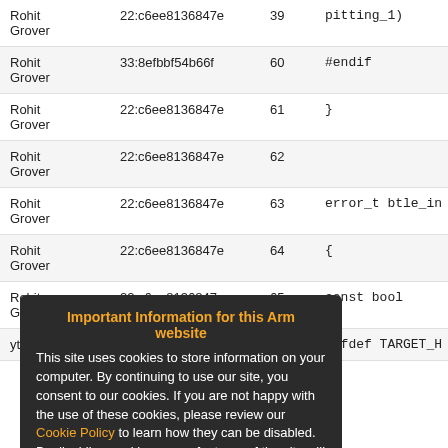| Author | Commit | Line | Code |
| --- | --- | --- | --- |
| Rohit Grover | 22:c6ee8136847e | 39 | pitting_1) |
| Rohit Grover | 33:8efbbf54b66f | 60 | #endif |
| Rohit Grover | 22:c6ee8136847e | 61 | } |
| Rohit Grover | 22:c6ee8136847e | 62 |  |
| Rohit | 22:c6ee8136847e | 63 | error_t btle_in |
| Rohit Grover | 22:c6ee8136847e | 64 | { |
| Rohit Grover | 22:c6ee8136847e | 65 | const bool |
| ytsubor | 61:d0158c65d0d7 | 66 | #ifdef TARGET_H |
Important Information for this Arm website
This site uses cookies to store information on your computer. By continuing to use our site, you consent to our cookies. If you are not happy with the use of these cookies, please review our Cookie Policy to learn how they can be disabled. By disabling cookies, some features of the site will not work.
Accept and hide this message